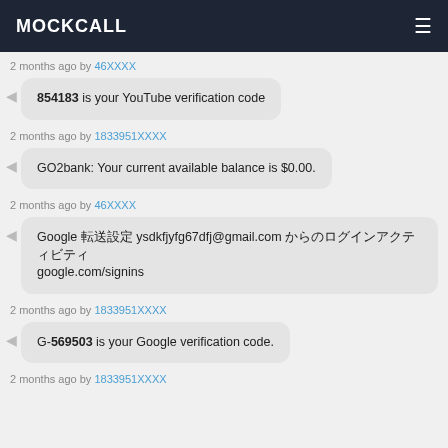MOCKCALL
2 months ago by 46XXXX
854183 is your YouTube verification code
2 months ago by 1833951XXXX
GO2bank: Your current available balance is $0.00.
2 months ago by 46XXXX
Google 転送設定 ysdkfjyfg67dfj@gmail.com からのログインアクティビティ google.com/signins
2 months ago by 1833951XXXX
G-569503 is your Google verification code.
2 months ago by 1833951XXXX